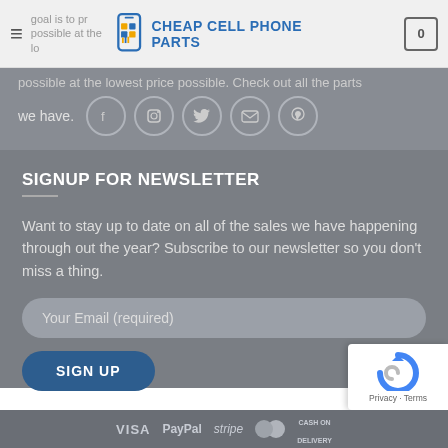Cheap Cell Phone Parts — our goal is to provide the best parts possible at the lowest price possible. Check out all the parts we have.
we have.
SIGNUP FOR NEWSLETTER
Want to stay up to date on all of the sales we have happening through out the year? Subscribe to our newsletter so you don't miss a thing.
Your Email (required)
SIGN UP
VISA  PayPal  stripe  MasterCard  CASH ON DELIVERY